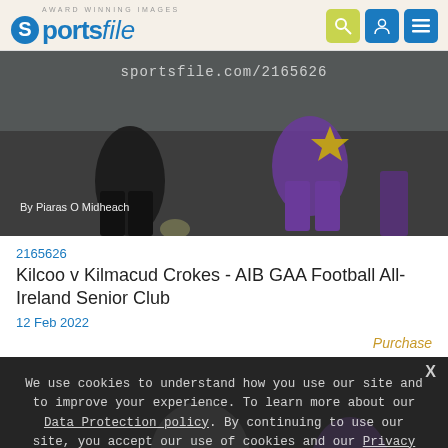AWARD WINNING IMAGES sportsfile
[Figure (photo): GAA football match action photo showing players in black and purple/yellow jerseys with watermark sportsfile.com/2165626, credit By Piaras O Midheach]
2165626
Kilcoo v Kilmacud Crokes - AIB GAA Football All-Ireland Senior Club
12 Feb 2022
Purchase
We use cookies to understand how you use our site and to improve your experience. To learn more about our Data Protection policy. By continuing to use our site, you accept our use of cookies and our Privacy Policy.
I Accept